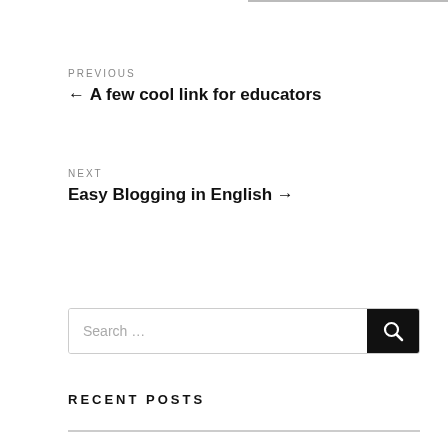PREVIOUS
← A few cool link for educators
NEXT
Easy Blogging in English →
Search …
RECENT POSTS